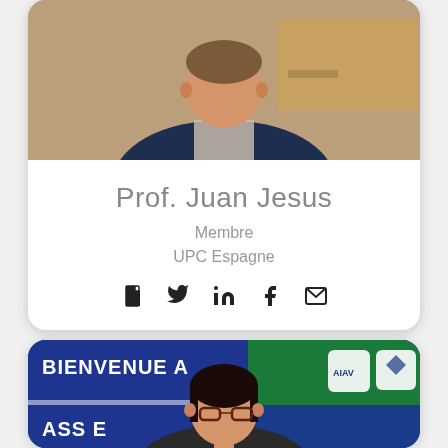[Figure (photo): Profile photo of Prof. Juan Jesus, a man in a dark suit sitting at a desk]
Prof. Juan Jesus
Membre
UPC Espagne
[Figure (infographic): Social media icons: document, Twitter, LinkedIn, Facebook, email]
[Figure (photo): Photo of a woman with glasses in front of a banner reading BIENVENUE A and ASSOC with logos]